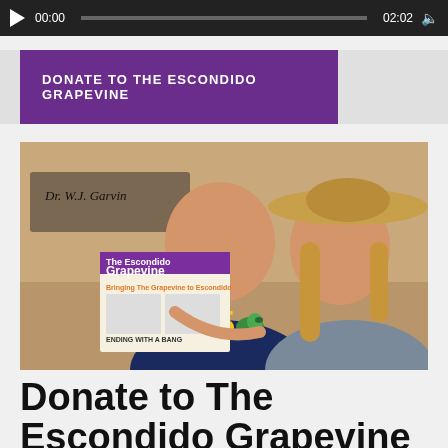[Figure (screenshot): Video player bar showing play button, timestamp 00:00, progress bar, timestamp 02:02, and volume icon on dark background]
DONATE TO THE ESCONDIDO GRAPEVINE
[Figure (photo): Two people smiling outdoors. A man in a navy blue shirt with yellow number 85 holds up a copy of The Escondido Grapevine newspaper, with a green parrot perched on his hand. A woman with long blonde hair wearing a straw hat stands beside him. A sign reading Dr. W.J. Garvin is visible in the background.]
Donate to The Escondido Grapevine